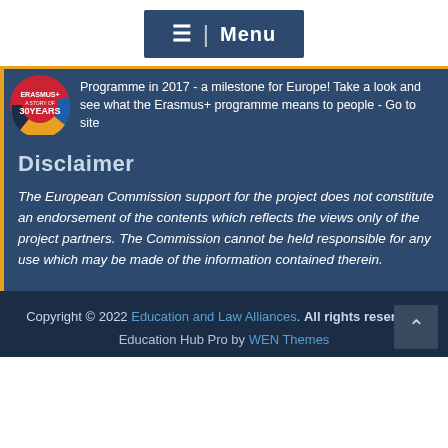☰ | Menu
Programme in 2017 - a milestone for Europe! Take a look and see what the Erasmus+ programme means to people - Go to site
Disclaimer
The European Commission support for the project does not constitute an endorsement of the contents which reflects the views only of the project partners. The Commission cannot be held responsible for any use which may be made of the information contained therein.
Copyright © 2022 Education and Law Alliances. All rights reserved. Education Hub Pro by WEN Themes